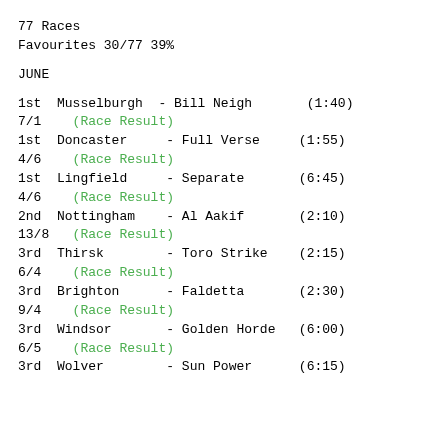77 Races
Favourites 30/77 39%
JUNE
1st  Musselburgh  - Bill Neigh        (1:40)
7/1    (Race Result)
1st  Doncaster    - Full Verse        (1:55)
4/6    (Race Result)
1st  Lingfield    - Separate          (6:45)
4/6    (Race Result)
2nd  Nottingham   - Al Aakif          (2:10)
13/8   (Race Result)
3rd  Thirsk       - Toro Strike       (2:15)
6/4    (Race Result)
3rd  Brighton     - Faldetta          (2:30)
9/4    (Race Result)
3rd  Windsor      - Golden Horde      (6:00)
6/5    (Race Result)
3rd  Wolver       - Sun Power         (6:15)